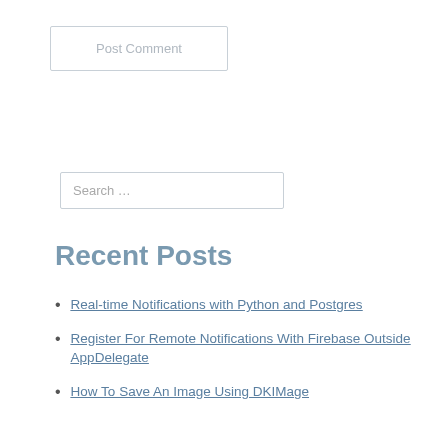Post Comment
Search ...
Recent Posts
Real-time Notifications with Python and Postgres
Register For Remote Notifications With Firebase Outside AppDelegate
How To Save An Image Using DKIMage